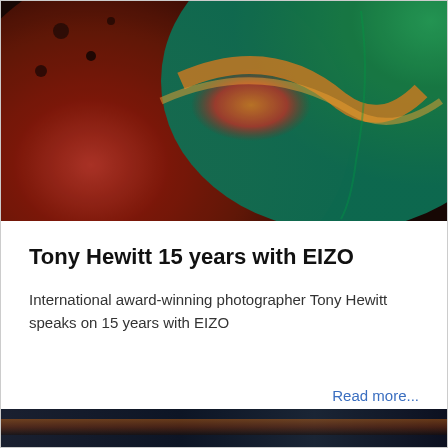[Figure (photo): Close-up abstract photograph showing vivid red, orange, and teal/green swirling colors, resembling a macro nature or paint shot.]
Tony Hewitt 15 years with EIZO
International award-winning photographer Tony Hewitt speaks on 15 years with EIZO
Read more...
[Figure (photo): Partial bottom image strip showing a dark scenic landscape photograph.]